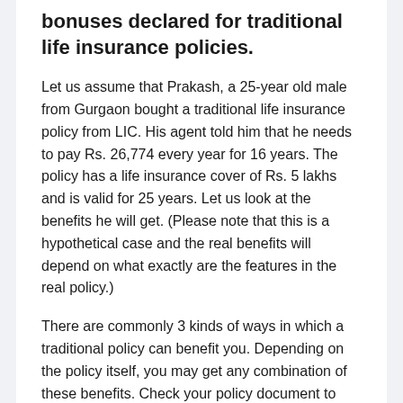bonuses declared for traditional life insurance policies.
Let us assume that Prakash, a 25-year old male from Gurgaon bought a traditional life insurance policy from LIC. His agent told him that he needs to pay Rs. 26,774 every year for 16 years. The policy has a life insurance cover of Rs. 5 lakhs and is valid for 25 years. Let us look at the benefits he will get. (Please note that this is a hypothetical case and the real benefits will depend on what exactly are the features in the real policy.)
There are commonly 3 kinds of ways in which a traditional policy can benefit you. Depending on the policy itself, you may get any combination of these benefits. Check your policy document to know which ones are